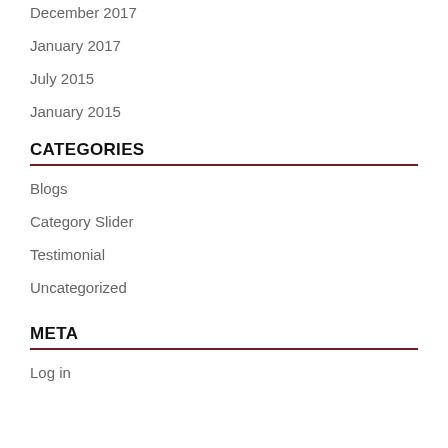December 2017
January 2017
July 2015
January 2015
CATEGORIES
Blogs
Category Slider
Testimonial
Uncategorized
META
Log in